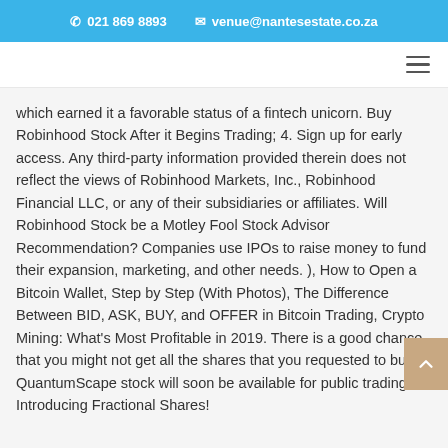☎ 021 869 8893   ✉ venue@nantesestate.co.za
which earned it a favorable status of a fintech unicorn. Buy Robinhood Stock After it Begins Trading; 4. Sign up for early access. Any third-party information provided therein does not reflect the views of Robinhood Markets, Inc., Robinhood Financial LLC, or any of their subsidiaries or affiliates. Will Robinhood Stock be a Motley Fool Stock Advisor Recommendation? Companies use IPOs to raise money to fund their expansion, marketing, and other needs. ), How to Open a Bitcoin Wallet, Step by Step (With Photos), The Difference Between BID, ASK, BUY, and OFFER in Bitcoin Trading, Crypto Mining: What's Most Profitable in 2019. There is a good chance that you might not get all the shares that you requested to buy. QuantumScape stock will soon be available for public trading. Introducing Fractional Shares!